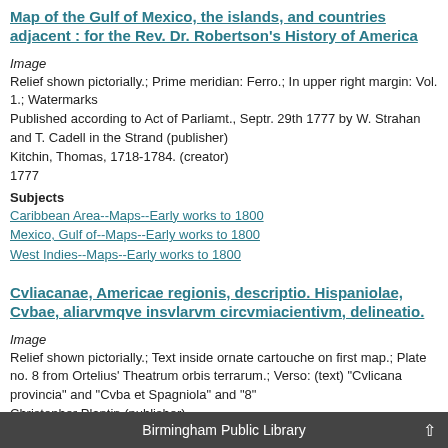Map of the Gulf of Mexico, the islands, and countries adjacent : for the Rev. Dr. Robertson's History of America
Image
Relief shown pictorially.; Prime meridian: Ferro.; In upper right margin: Vol. 1.; Watermarks
Published according to Act of Parliamt., Septr. 29th 1777 by W. Strahan and T. Cadell in the Strand (publisher)
Kitchin, Thomas, 1718-1784. (creator)
1777
Subjects
Caribbean Area--Maps--Early works to 1800
Mexico, Gulf of--Maps--Early works to 1800
West Indies--Maps--Early works to 1800
Cvliacanae, Americae regionis, descriptio. Hispaniolae, Cvbae, aliarvmqve insvlarvm circvmiacientivm, delineatio.
Image
Relief shown pictorially.; Text inside ornate cartouche on first map.; Plate no. 8 from Ortelius' Theatrum orbis terrarum.; Verso: (text) "Cvlicana provincia" and "Cvba et Spagniola" and "8"
Christopher Plantin (publisher)
Ortelius, Abraham, 1527-1598. (creator)
Plantin, Christophe, approximately 1520-1589. (contributor)
1584
Subjects
Mexico--Maps--Early works to 1800
Caribbean Area--Maps--Early works to 1800
Birmingham Public Library